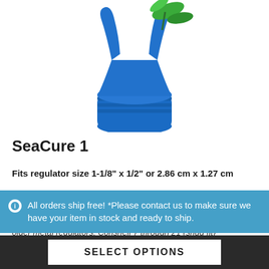[Figure (photo): Product photo of SeaCure 1 mouthpiece/regulator protector in blue and green colors, shown from above against white background]
SeaCure 1
Fits regulator size 1-1/8" x 1/2" or 2.86 cm x 1.27 cm
Apollo
Aqua Lung
older metal regulators, Conshelf 7 through 21 (snug fit)
Atomic
All orders ship free! *Please contact us to make sure we have your item in stock and ready to ship.
SELECT OPTIONS